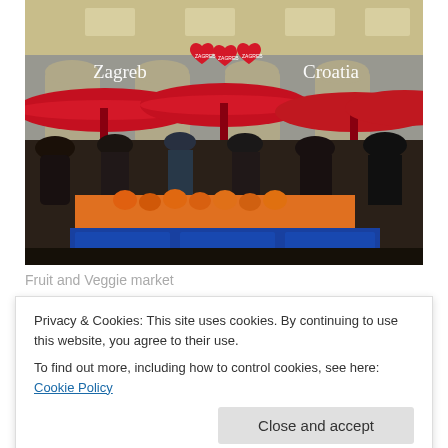[Figure (photo): Outdoor fruit and vegetable market in Zagreb, Croatia. Red umbrellas shade market stalls with oranges and produce. Crowds of people shop. Building facade in background with 'Zagreb' and 'Croatia' text and heart-shaped logo signs.]
Fruit and Veggie market
Privacy & Cookies: This site uses cookies. By continuing to use this website, you agree to their use.
To find out more, including how to control cookies, see here: Cookie Policy
[Figure (photo): Partial view of another photo at the bottom of the page, showing some green foliage or outdoor scene.]